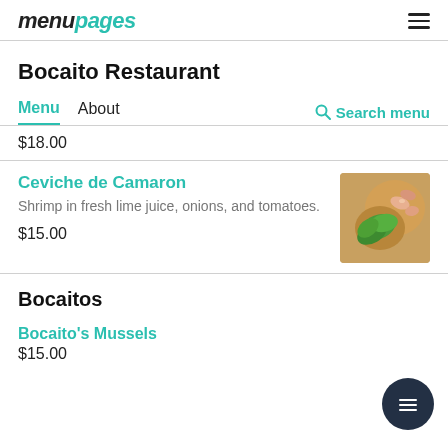menupages
Bocaito Restaurant
Menu  About  Search menu
$18.00
Ceviche de Camaron
Shrimp in fresh lime juice, onions, and tomatoes.
$15.00
[Figure (photo): Photo of Ceviche de Camaron dish with shrimp, green garnish and vegetables]
Bocaitos
Bocaito's Mussels
$15.00